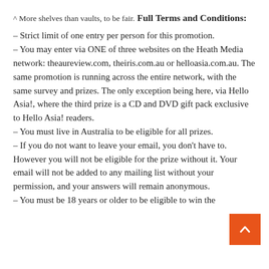^ More shelves than vaults, to be fair.
Full Terms and Conditions:
– Strict limit of one entry per person for this promotion.
– You may enter via ONE of three websites on the Heath Media network: theaureview.com, theiris.com.au or helloasia.com.au. The same promotion is running across the entire network, with the same survey and prizes. The only exception being here, via Hello Asia!, where the third prize is a CD and DVD gift pack exclusive to Hello Asia! readers.
– You must live in Australia to be eligible for all prizes.
– If you do not want to leave your email, you don't have to. However you will not be eligible for the prize without it. Your email will not be added to any mailing list without your permission, and your answers will remain anonymous.
– You must be 18 years or older to be eligible to win the